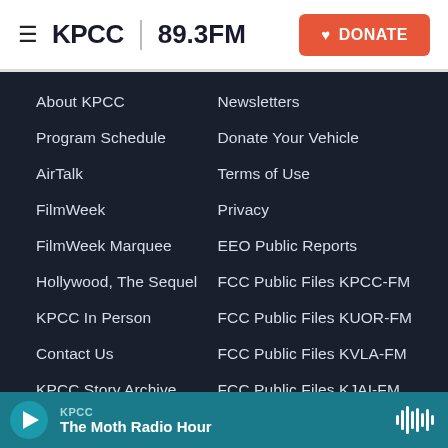KPCC 89.3FM | DONATE
About KPCC
Newsletters
Program Schedule
Donate Your Vehicle
AirTalk
Terms of Use
FilmWeek
Privacy
FilmWeek Marquee
EEO Public Reports
Hollywood, The Sequel
FCC Public Files KPCC-FM
KPCC In Person
FCC Public Files KUOR-FM
Contact Us
FCC Public Files KVLA-FM
KPCC Story Archive
FCC Public Files KJAI-FM
Careers
FCC Applications Public
KPCC — The Moth Radio Hour